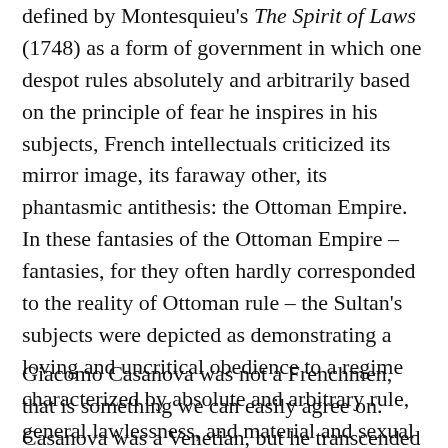defined by Montesquieu's The Spirit of Laws (1748) as a form of government in which one despot rules absolutely and arbitrarily based on the principle of fear he inspires in his subjects, French intellectuals criticized its mirror image, its faraway other, its phantasmic antithesis: the Ottoman Empire. In these fantasies of the Ottoman Empire – fantasies, for they often hardly corresponded to the reality of Ottoman rule – the Sultan's subjects were depicted as demonstrating a loving and uncritical obedience to a regime characterized by absolute and arbitrary rule, general lawlessness, and material and sexual lust. Theses fantasies were used as a negative mirror-image of France, of what France could become, and perhaps of what it already had become.
Giacomo Casanova was not a Frenchmen, that is something we can easily agree on. Casanova was a Venetian, but he transcended his Venetian identity and